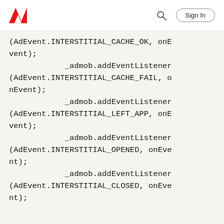Adobe | Sign In
(AdEvent.INTERSTITIAL_CACHE_OK, onEvent);
            _admob.addEventListener(AdEvent.INTERSTITIAL_CACHE_FAIL, onEvent);
            _admob.addEventListener(AdEvent.INTERSTITIAL_LEFT_APP, onEvent);
            _admob.addEventListener(AdEvent.INTERSTITIAL_OPENED, onEvent);
            _admob.addEventListener(AdEvent.INTERSTITIAL_CLOSED, onEvent);